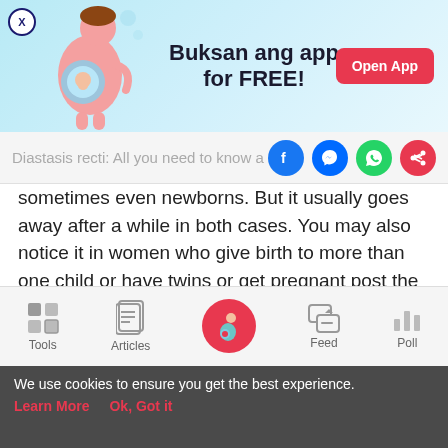[Figure (illustration): Mobile app advertisement banner with illustration of pregnant woman and fetus, text 'Buksan ang app for FREE!' and 'Open App' button]
Diastasis recti: All you need to know a…
sometimes even newborns. But it usually goes away after a while in both cases. You may also notice it in women who give birth to more than one child or have twins or get pregnant post the age of 35.
What is Diastasis recti?
[Figure (screenshot): Mobile app bottom navigation bar with Tools, Articles, Home (pregnant woman icon, highlighted in pink circle), Feed, and Poll icons]
We use cookies to ensure you get the best experience. Learn More  Ok, Got it